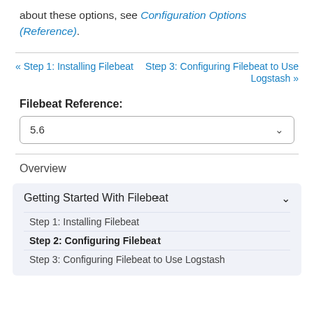about these options, see Configuration Options (Reference).
« Step 1: Installing Filebeat
Step 3: Configuring Filebeat to Use Logstash »
Filebeat Reference:
5.6
Overview
Getting Started With Filebeat
Step 1: Installing Filebeat
Step 2: Configuring Filebeat
Step 3: Configuring Filebeat to Use Logstash